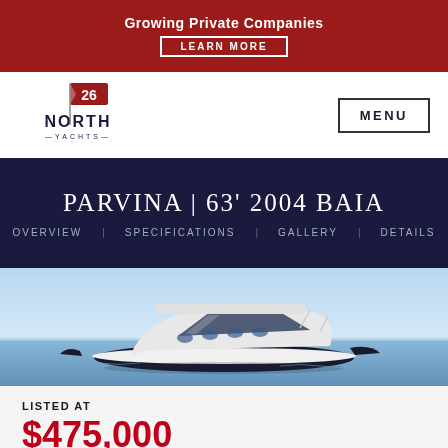Growing Private Companies LEARN MORE
[Figure (logo): 26 North Yachts logo with flag icon]
MENU
PARVINA | 63' 2004 BAIA
OVERVIEW   SPECIFICATIONS   GALLERY   DETAILS
[Figure (photo): A white and black sport yacht cruising on calm blue water under a clear sky]
LISTED AT
$475,000